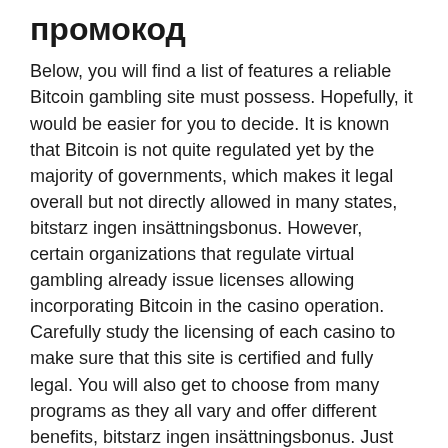промокод
Below, you will find a list of features a reliable Bitcoin gambling site must possess. Hopefully, it would be easier for you to decide. It is known that Bitcoin is not quite regulated yet by the majority of governments, which makes it legal overall but not directly allowed in many states, bitstarz ingen insättningsbonus. However, certain organizations that regulate virtual gambling already issue licenses allowing incorporating Bitcoin in the casino operation. Carefully study the licensing of each casino to make sure that this site is certified and fully legal. You will also get to choose from many programs as they all vary and offer different benefits, bitstarz ingen insättningsbonus. Just like regular betting, these bets can be placed on anything from a game outcome, to how many points are scored in the first half, bitstarz 41 casino.